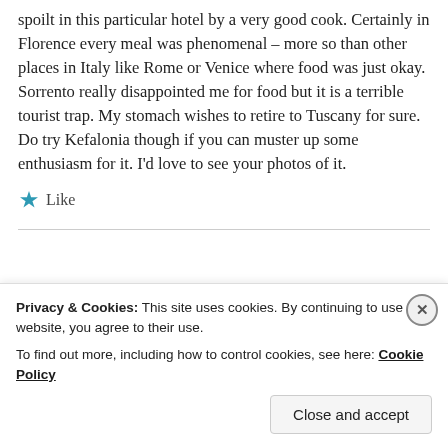spoilt in this particular hotel by a very good cook. Certainly in Florence every meal was phenomenal – more so than other places in Italy like Rome or Venice where food was just okay. Sorrento really disappointed me for food but it is a terrible tourist trap. My stomach wishes to retire to Tuscany for sure. Do try Kefalonia though if you can muster up some enthusiasm for it. I'd love to see your photos of it.
★ Like
Privacy & Cookies: This site uses cookies. By continuing to use this website, you agree to their use.
To find out more, including how to control cookies, see here: Cookie Policy
Close and accept